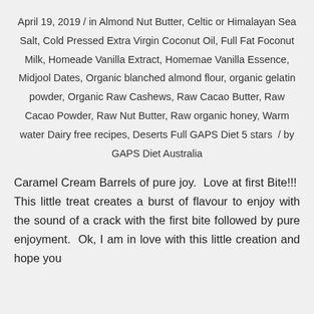April 19, 2019 / in Almond Nut Butter, Celtic or Himalayan Sea Salt, Cold Pressed Extra Virgin Coconut Oil, Full Fat Foconut Milk, Homeade Vanilla Extract, Homemae Vanilla Essence, Midjool Dates, Organic blanched almond flour, organic gelatin powder, Organic Raw Cashews, Raw Cacao Butter, Raw Cacao Powder, Raw Nut Butter, Raw organic honey, Warm water Dairy free recipes, Deserts Full GAPS Diet 5 stars  / by GAPS Diet Australia
Caramel Cream Barrels of pure joy.  Love at first Bite!!!  This little treat creates a burst of flavour to enjoy with the sound of a crack with the first bite followed by pure enjoyment.  Ok, I am in love with this little creation and hope you